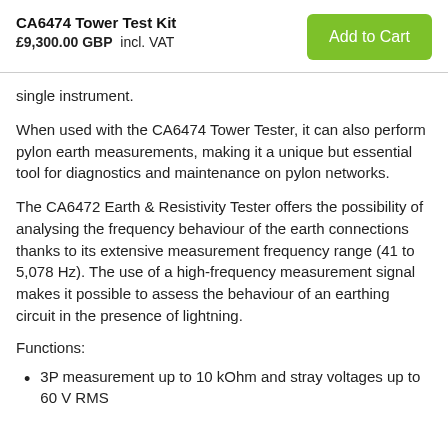CA6474 Tower Test Kit
£9,300.00 GBP  incl. VAT
single instrument.
When used with the CA6474 Tower Tester, it can also perform pylon earth measurements, making it a unique but essential tool for diagnostics and maintenance on pylon networks.
The CA6472 Earth & Resistivity Tester offers the possibility of analysing the frequency behaviour of the earth connections thanks to its extensive measurement frequency range (41 to 5,078 Hz). The use of a high-frequency measurement signal makes it possible to assess the behaviour of an earthing circuit in the presence of lightning.
Functions:
3P measurement up to 10 kOhm and stray voltages up to 60 V RMS